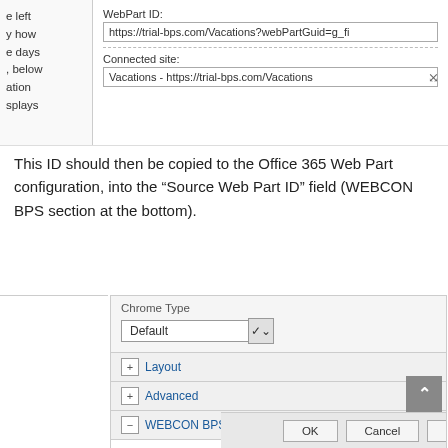[Figure (screenshot): Top portion of a web part configuration dialog showing WebPart ID field with URL https://trial-bps.com/Vacations?webPartGuid=g_f... and Connected site field showing Vacations - https://trial-bps.com/Vacations, with left panel showing partial text: e left, y how, e days, , below, ation, splays]
This ID should then be copied to the Office 365 Web Part configuration, into the “Source Web Part ID” field (WEBCON BPS section at the bottom).
[Figure (screenshot): Bottom portion of a SharePoint web part configuration panel showing Chrome Type dropdown set to Default, then Layout, Advanced, and WEBCON BPS (expanded) sections. Under WEBCON BPS: Host web part id field with https://trial-bps.com/Vacations entered. OK, Cancel, Apply buttons at the bottom. Scroll-to-top button on the right.]